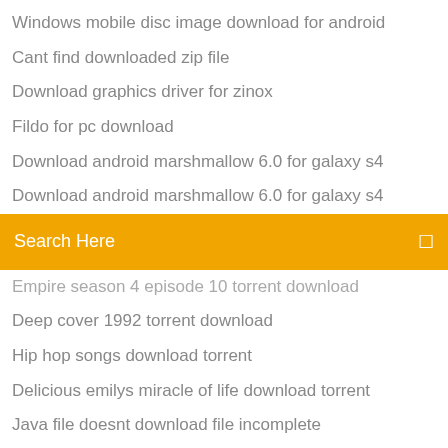Windows mobile disc image download for android
Cant find downloaded zip file
Download graphics driver for zinox
Fildo for pc download
Download android marshmallow 6.0 for galaxy s4
Download android marshmallow 6.0 for galaxy s4
[Figure (screenshot): Orange search bar with text 'Search Here' and a search icon on the right]
Empire season 4 episode 10 torrent download
Deep cover 1992 torrent download
Hip hop songs download torrent
Delicious emilys miracle of life download torrent
Java file doesnt download file incomplete
I want to download dungeun defenders on pc
Pubg offline mode download pc
Hp envy 4512 driver for mac download
Download bios drivers for ga-h110m-a
How to download an book to a mp4
A broken souls voice pdf download